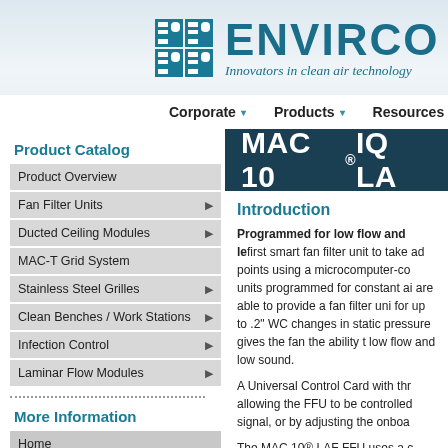[Figure (logo): Envirco logo with teal grid icon and text 'ENVIRCO — Innovators in clean air technology']
Corporate  ▾   Products  ▾   Resources  ▾   P
Product Catalog
Product Overview
Fan Filter Units
Ducted Ceiling Modules
MAC-T Grid System
Stainless Steel Grilles
Clean Benches / Work Stations
Infection Control
Laminar Flow Modules
More Information
Home
Contact Us
Corporate
Products
Resources
MAC 10® IQ LA
Introduction
Programmed for low flow and le first smart fan filter unit to take ad points using a microcomputer-co units programmed for constant ai are able to provide a fan filter un for up to .2" WC changes in static pressure gives the fan the ability low flow and low sound.
A Universal Control Card with thr allowing the FFU to be controlled signal, or by adjusting the onboa
The MAC 10® LAF FFU uses a c baffling system and forward curve electronically commutated (ECM) consumption high performance an